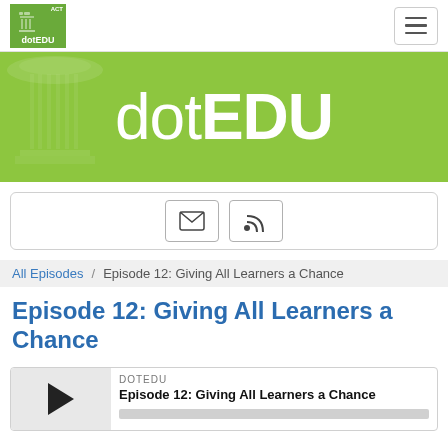dotEDU
[Figure (logo): dotEDU podcast logo with green background and Ionic column graphic]
[Figure (illustration): Green banner with dotEDU title text and stylized Ionic column on left]
[Figure (infographic): Subscribe box with email and RSS icon buttons]
All Episodes / Episode 12: Giving All Learners a Chance
Episode 12: Giving All Learners a Chance
DOTEDU
Episode 12: Giving All Learners a Chance